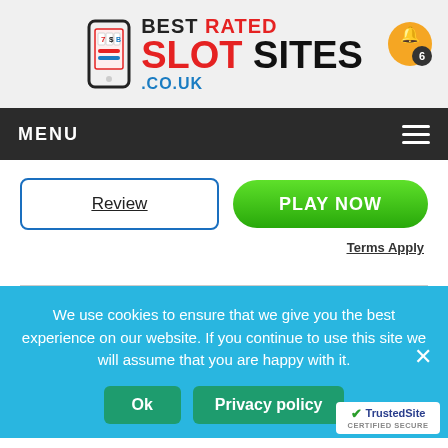[Figure (logo): Best Rated Slot Sites .co.uk logo with phone icon and orange bell notification button showing 6 notifications]
MENU
Review
PLAY NOW
Terms Apply
We use cookies to ensure that we give you the best experience on our website. If you continue to use this site we will assume that you are happy with it.
Ok
Privacy policy
[Figure (logo): TrustedSite Certified Secure badge]